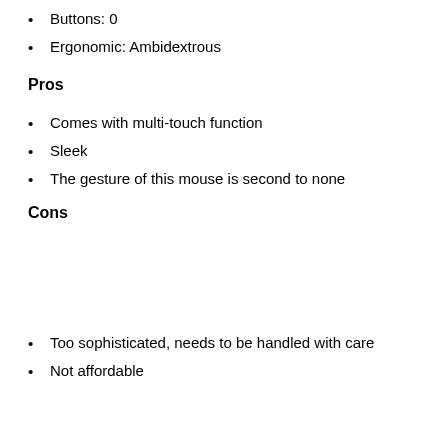Buttons: 0
Ergonomic: Ambidextrous
Pros
Comes with multi-touch function
Sleek
The gesture of this mouse is second to none
Cons
Too sophisticated, needs to be handled with care
Not affordable